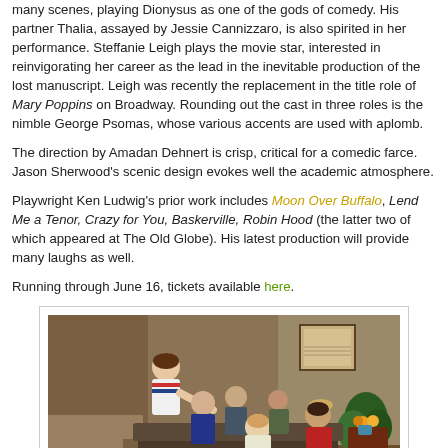many scenes, playing Dionysus as one of the gods of comedy. His partner Thalia, assayed by Jessie Cannizzaro, is also spirited in her performance. Steffanie Leigh plays the movie star, interested in reinvigorating her career as the lead in the inevitable production of the lost manuscript. Leigh was recently the replacement in the title role of Mary Poppins on Broadway. Rounding out the cast in three roles is the nimble George Psomas, whose various accents are used with aplomb.
The direction by Amadan Dehnert is crisp, critical for a comedic farce. Jason Sherwood's scenic design evokes well the academic atmosphere.
Playwright Ken Ludwig's prior work includes Moon Over Buffalo, Lend Me a Tenor, Crazy for You, Baskerville, Robin Hood (the latter two of which appeared at The Old Globe). His latest production will provide many laughs as well.
Running through June 16, tickets available here.
[Figure (photo): A theater production scene showing six actors on stage in what appears to be an academic interior set. One actor leans forward from an upper position, others are gathered around a couch in dramatic poses. The set features stairs, framed certificates on the wall, plants, and warm lighting.]